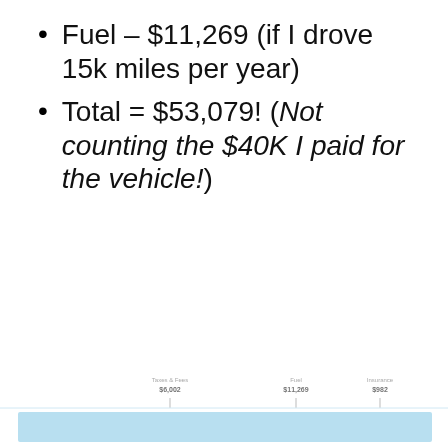Fuel – $11,269 (if I drove 15k miles per year)
Total = $53,079! (Not counting the $40K I paid for the vehicle!)
[Figure (bar-chart): Partial horizontal bar chart at bottom of page showing cost categories including Taxes & Fees ($6,002), Fuel ($11,269), and Insurance ($982) with a light blue bar strip]